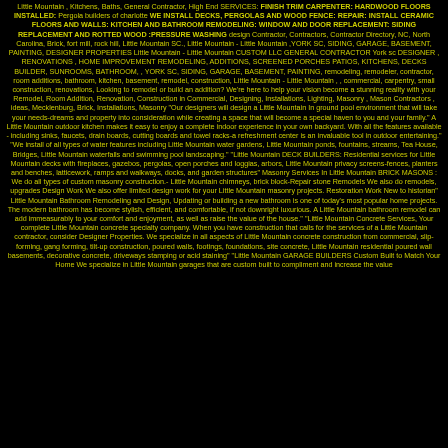Little Mountain , Kitchens, Baths, General Contractor, High End SERVICES: FINISH TRIM CARPENTER: HARDWOOD FLOORS INSTALLED: Pergola builders of charlotte WE INSTALL DECKS, PERGOLAS AND WOOD FENCE: REPAIR: INSTALL CERAMIC FLOORS AND WALLS: KITCHEN AND BATHROOM REMODELING: WINDOW AND DOOR REPLACEMENT: SIDING REPLACEMENT AND ROTTED WOOD :PRESSURE WASHING design Contractor, Contractors, Contractor Directory, NC, North Carolina, Brick, fort mill, rock hill, Little Mountain SC., Little Mountain - Little Mountain ,YORK SC, SIDING, GARAGE, BASEMENT, PAINTING, DESIGNER PROPERTIES Little Mountain - Little Mountain CUSTOM LLC GENERAL CONTRACTOR York sc DESIGNER , RENOVATIONS , HOME IMPROVEMENT REMODELING, ADDITIONS, SCREENED PORCHES PATIOS, KITCHENS, DECKS BUILDER, SUNROOMS, BATHROOM, , YORK SC, SIDING, GARAGE, BASEMENT, PAINTING, remodeling, remodeler, contractor, room additions, bathroom, kitchen, basement, remodel, construction, Little Mountain - Little Mountain , , commercial, carpentry, small construction, renovations, Looking to remodel or build an addition? We're here to help your vision become a stunning reality with your Remodel, Room Addition, Renovation, Construction in Commercial, Designing, Installations, Lighting, Masonry , Mason Contractors , ideas, Mecklenburg, Brick, Installations, Masonry "Our designers will design a Little Mountain In ground pool environment that will take your needs-dreams and property into consideration while creating a space that will become a special haven to you and your family." A Little Mountain outdoor kitchen makes it easy to enjoy a complete indoor experience in your own backyard. With all the features available - including sinks, faucets, drain boards, cutting boards and towel racks-a refreshment center is an invaluable tool in outdoor entertaining." "We install of all types of water features including Little Mountain water gardens, Little Mountain ponds, fountains, streams, Tea House, Bridges, Little Mountain waterfalls and swimming pool landscaping." "Little Mountain DECK BUILDERS: Residential services for Little Mountain decks with fireplaces, gazebos, pergolas, open porches and loggias, arbors, Little Mountain privacy screens-fences, planters and benches, latticework, ramps and walkways, docks, and garden structures" Masonry Services In Little Mountain BRICK MASONS : We do all types of custom masonry construction.- Little Mountain chimneys, brick block-Repair stone Remodels We also do remodels, upgrades Design Work We also offer limited design work for your Little Mountain masonry projects. Restoration Work New to historian" Little Mountain Bathroom Remodeling and Design, Updating or building a new bathroom is one of today's most popular home projects. The modern bathroom has become stylish, efficient, and comfortable, if not downright luxurious. A Little Mountain bathroom remodel can add immeasurably to your comfort and enjoyment, as well as raise the value of the house." "Little Mountain Concrete Services, Your complete Little Mountain concrete specialty company. When you have construction that calls for the services of a Little Mountain contractor, consider Designer Properties. We specialize in all aspects of Little Mountain concrete construction from commercial, slip-forming, gang forming, tilt-up construction, poured walls, footings, foundations, site concrete, Little Mountain residential poured wall basements, decorative concrete, driveways stamping or acid staining" "Little Mountain GARAGE BUILDERS Custom Built to Match Your Home We specialize in Little Mountain garages that are custom built to compliment and increase the value